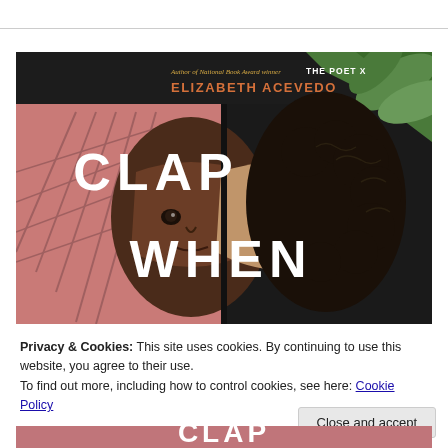[Figure (illustration): Book cover of 'Clap When' by Elizabeth Acevedo. Shows two illustrated young women's faces split down the middle — one with dark complexion on the left against a pink geometric/architectural background, one with lighter complexion on the right with curly hair against a dark background with tropical leaves. Text reads 'Author of National Book Award winner THE POET X' and 'ELIZABETH ACEVEDO' in orange at the top, with 'CLAP WHEN' in large white block letters across the center.]
Privacy & Cookies: This site uses cookies. By continuing to use this website, you agree to their use.
To find out more, including how to control cookies, see here: Cookie Policy
[Figure (illustration): Bottom strip showing partial text in large white block letters on a colorful background, partially cut off]